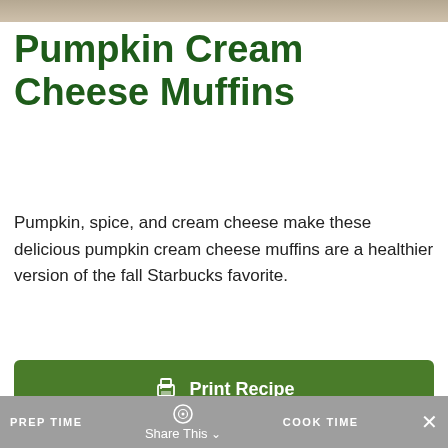[Figure (photo): Top of a food photo showing a baked good, partially visible]
Pumpkin Cream Cheese Muffins
Pumpkin, spice, and cream cheese make these delicious pumpkin cream cheese muffins are a healthier version of the fall Starbucks favorite.
Print Recipe
Pin Recipe
PREP TIME  Share This  COOK TIME  ×